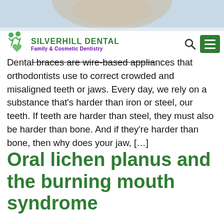[Figure (photo): Top portion of a woman's face/hair, light background, partially cropped]
SILVERHILL DENTAL
Family & Cosmetic Dentistry
Dental braces are wire-based appliances that orthodontists use to correct crowded and misaligned teeth or jaws. Every day, we rely on a substance that's harder than iron or steel, our teeth. If teeth are harder than steel, they must also be harder than bone. And if they're harder than bone, then why does your jaw, [⋯]
Oral lichen planus and the burning mouth syndrome
[Figure (photo): Close-up macro photo of an open mouth showing teeth and gums]